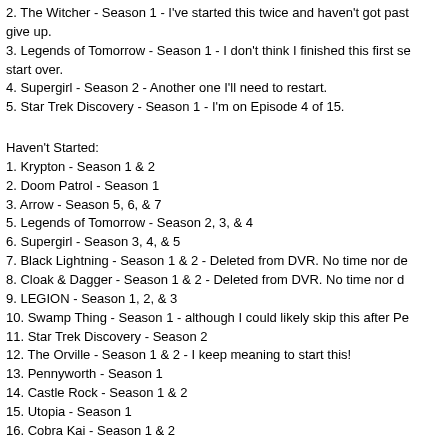2.  The Witcher - Season 1 - I've started this twice and haven't got past give up.
3.  Legends of Tomorrow - Season 1 - I don't think I finished this first se start over.
4.  Supergirl - Season 2 - Another one I'll need to restart.
5.  Star Trek Discovery - Season 1 - I'm on Episode 4 of 15.
Haven't Started:
1.  Krypton - Season 1 & 2
2.  Doom Patrol - Season 1
3.  Arrow - Season 5, 6, & 7
5.  Legends of Tomorrow - Season 2, 3, & 4
6.  Supergirl - Season 3, 4, & 5
7.  Black Lightning - Season 1 & 2 - Deleted from DVR.  No time nor de
8.  Cloak & Dagger - Season 1 & 2 - Deleted from DVR.  No time nor d
9.  LEGION - Season 1, 2, & 3
10.  Swamp Thing - Season 1 - although I could likely skip this after Pe
11.  Star Trek Discovery - Season 2
12.  The Orville - Season 1 & 2 - I keep meaning to start this!
13.  Pennyworth - Season 1
14.  Castle Rock - Season 1 & 2
15.  Utopia - Season 1
16.  Cobra Kai - Season 1 & 2
Coming Soon (or Later - Thanks Covid  >:( )
1.  Stranger Things - Season 4 - Late 2021
2.  Goliath - Season 4 (Final Season) - No release date yet.
3.  Perpetual Grace - Season 2 - CANCELLED - but a wrap up mini mi
4.  The Mandalorian - Season 2 - Late 2020